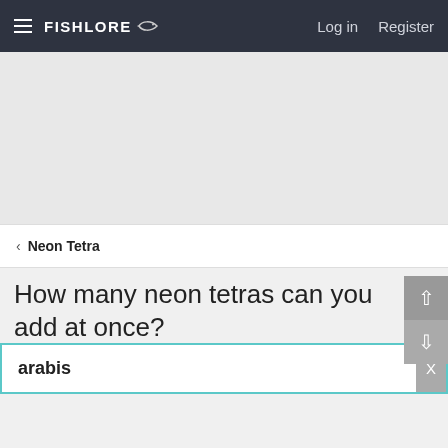FishLore  Log in  Register
[Figure (screenshot): Gray advertisement placeholder area]
< Neon Tetra
How many neon tetras can you add at once?
arabis